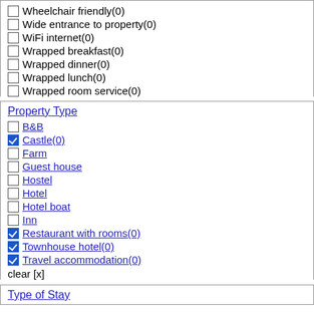Wheelchair friendly(0)
Wide entrance to property(0)
WiFi internet(0)
Wrapped breakfast(0)
Wrapped dinner(0)
Wrapped lunch(0)
Wrapped room service(0)
Property Type
B&B
Castle(0) [checked]
Farm
Guest house
Hostel
Hotel
Hotel boat
Inn
Restaurant with rooms(0) [checked]
Townhouse hotel(0) [checked]
Travel accommodation(0) [checked]
clear [x]
Type of Stay